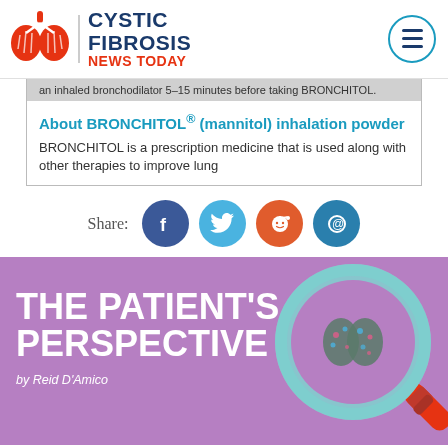Cystic Fibrosis News Today
an inhaled bronchodilator 5–15 minutes before taking BRONCHITOL.
About BRONCHITOL® (mannitol) inhalation powder
BRONCHITOL is a prescription medicine that is used along with other therapies to improve lung
Share:
[Figure (infographic): The Patient's Perspective banner image by Reid D'Amico, purple background with magnifying glass over illustrated lungs]
by Reid D'Amico